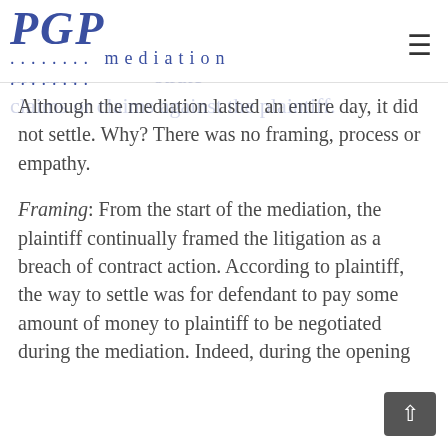PGP mediation
Although the mediation lasted an entire day, it did not settle. Why? There was no framing, process or empathy.
Framing: From the start of the mediation, the plaintiff continually framed the litigation as a breach of contract action. According to plaintiff, the way to settle was for defendant to pay some amount of money to plaintiff to be negotiated during the mediation. Indeed, during the opening